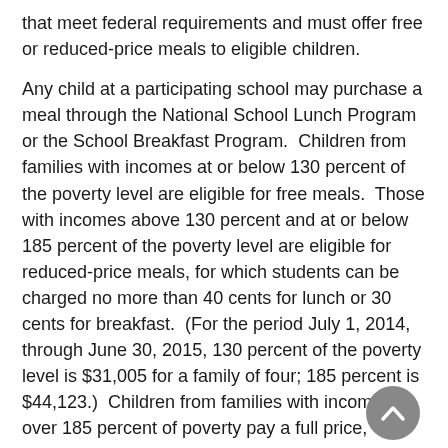that meet federal requirements and must offer free or reduced-price meals to eligible children.

Any child at a participating school may purchase a meal through the National School Lunch Program or the School Breakfast Program.  Children from families with incomes at or below 130 percent of the poverty level are eligible for free meals.  Those with incomes above 130 percent and at or below 185 percent of the poverty level are eligible for reduced-price meals, for which students can be charged no more than 40 cents for lunch or 30 cents for breakfast.  (For the period July 1, 2014, through June 30, 2015, 130 percent of the poverty level is $31,005 for a family of four; 185 percent is $44,123.)  Children from families with incomes over 185 percent of poverty pay a full price, though their meals are still subsidized to some extent.  Local school food authorities set their own prices for full-price (paid) meals but must operate their meal services as non-profit programs.